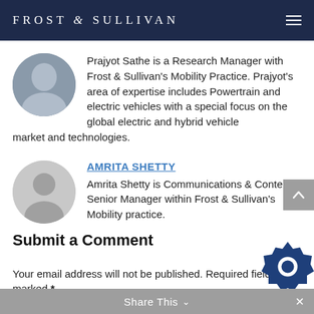FROST & SULLIVAN
Prajyot Sathe is a Research Manager with Frost & Sullivan's Mobility Practice. Prajyot's area of expertise includes Powertrain and electric vehicles with a special focus on the global electric and hybrid vehicle market and technologies.
AMRITA SHETTY
Amrita Shetty is Communications & Content Senior Manager within Frost & Sullivan's Mobility practice.
Submit a Comment
Your email address will not be published. Required fields are marked *
Share This